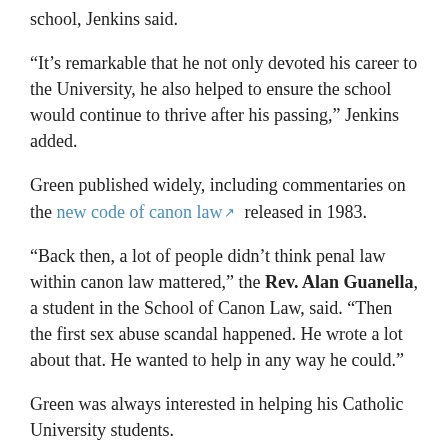school, Jenkins said.
“It’s remarkable that he not only devoted his career to the University, he also helped to ensure the school would continue to thrive after his passing,” Jenkins added.
Green published widely, including commentaries on the new code of canon law ↗ released in 1983.
“Back then, a lot of people didn’t think penal law within canon law mattered,” the Rev. Alan Guanella, a student in the School of Canon Law, said. “Then the first sex abuse scandal happened. He wrote a lot about that. He wanted to help in any way he could.”
Green was always interested in helping his Catholic University students.